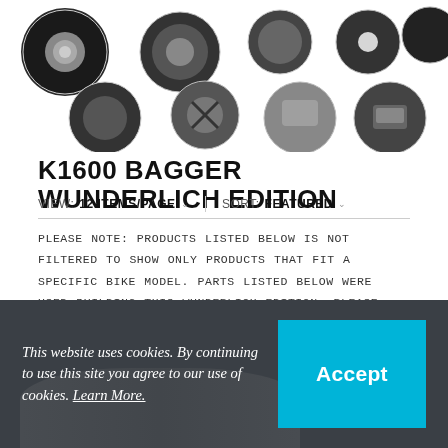[Figure (photo): Grid of circular thumbnail images showing motorcycle parts and details for the K1600 Bagger Wunderlich Edition]
K1600 BAGGER WUNDERLICH EDITION
VIEW: 12 ITEMS/PAGE   SORT: FEATURED
PLEASE NOTE: PRODUCTS LISTED BELOW IS NOT FILTERED TO SHOW ONLY PRODUCTS THAT FIT A SPECIFIC BIKE MODEL. PARTS LISTED BELOW WERE USED BUILDING THIS WUNDERLICH EDITION. PLEASE NOTE MULTIPLE COLOR OPTIONS MAY BE LISTED.
This website uses cookies. By continuing to use this site you agree to our use of cookies. Learn More.
Accept